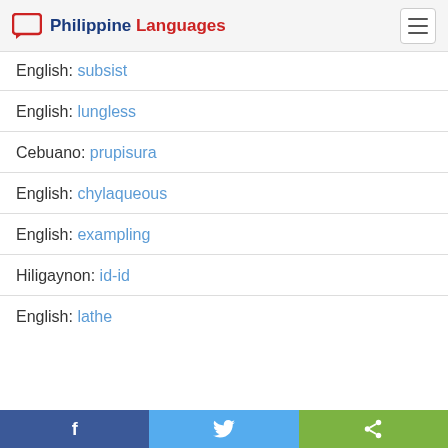Philippine Languages
English: subsist
English: lungless
Cebuano: prupisura
English: chylaqueous
English: exampling
Hiligaynon: id-id
English: lathe
Facebook | Twitter | Share